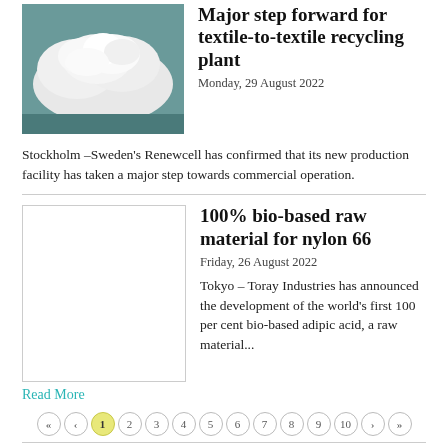Major step forward for textile-to-textile recycling plant
Monday, 29 August 2022
Stockholm –Sweden's Renewcell has confirmed that its new production facility has taken a major step towards commercial operation.
100% bio-based raw material for nylon 66
Friday, 26 August 2022
Tokyo – Toray Industries has announced the development of the world's first 100 per cent bio-based adipic acid, a raw material...
Read More
Back Issue Archive